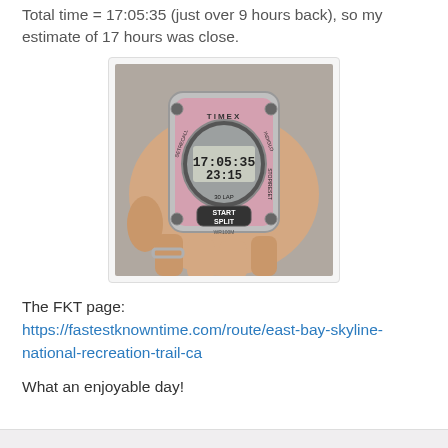Total time = 17:05:35 (just over 9 hours back), so my estimate of 17 hours was close.
[Figure (photo): A hand holding a pink and silver Timex stopwatch showing time 17:05:35 and 23:15 on the display, with START SPLIT button visible, 30 LAP model.]
The FKT page:
https://fastestknowntime.com/route/east-bay-skyline-national-recreation-trail-ca
What an enjoyable day!